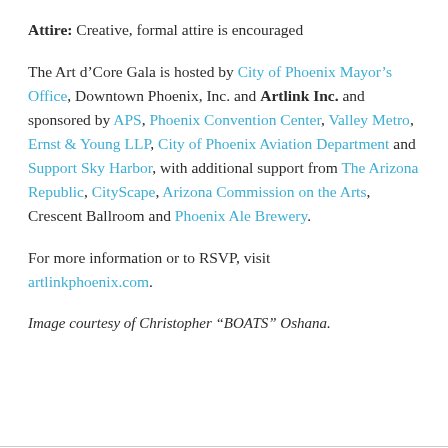Attire: Creative, formal attire is encouraged
The Art d’Core Gala is hosted by City of Phoenix Mayor’s Office, Downtown Phoenix, Inc. and Artlink Inc. and sponsored by APS, Phoenix Convention Center, Valley Metro, Ernst & Young LLP, City of Phoenix Aviation Department and Support Sky Harbor, with additional support from The Arizona Republic, CityScape, Arizona Commission on the Arts, Crescent Ballroom and Phoenix Ale Brewery.
For more information or to RSVP, visit artlinkphoenix.com.
Image courtesy of Christopher “BOATS” Oshana.